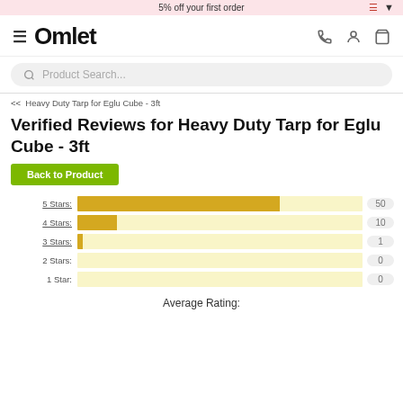5% off your first order
[Figure (logo): Omlet logo with hamburger menu and nav icons (phone, account, basket)]
Product Search...
<< Heavy Duty Tarp for Eglu Cube - 3ft
Verified Reviews for Heavy Duty Tarp for Eglu Cube - 3ft
Back to Product
[Figure (bar-chart): Star Ratings]
Average Rating: